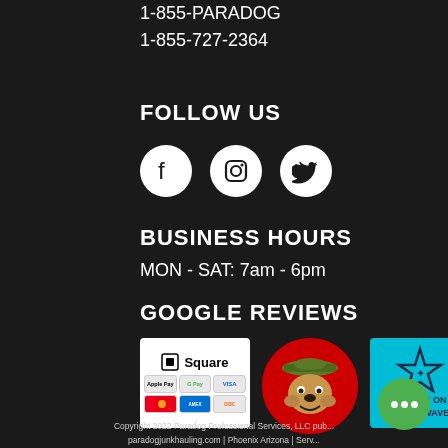1-855-PARADOG
1-855-727-2364
FOLLOW US
[Figure (illustration): Social media icons: Facebook, Instagram, Twitter in white circles on dark background]
BUSINESS HOURS
MON - SAT: 7am - 6pm
GOOGLE REVIEWS
[Figure (logo): Square payment logo with Apple Pay, Google Pay, Visa, Mastercard, American Express, Discover]
[Figure (logo): Bulldog mascot logo in military helmet on red circular background]
[Figure (logo): Operation Shockwave logo on teal background with star]
Copyright 2022 Paradog Professional Services, LLC pub...
paradogjunkhauling.com | Phoenix Arizona | Serv...
PRIVACY POLICY | TERMS OF SERVICE